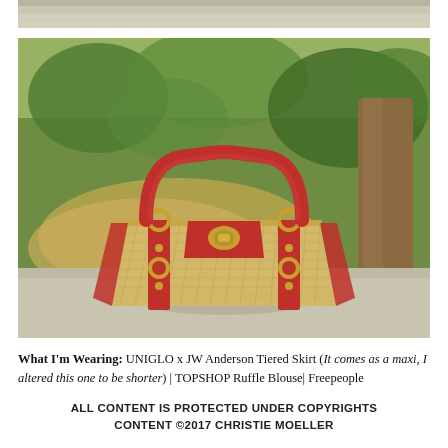[Figure (photo): Partial top strip of an outdoor photo, showing pavement or stone surface at top of page.]
[Figure (photo): A wicker/rattan handbag with red leather handles and red leather strap accents with gold hardware, photographed outdoors on a stone surface with green trees and dry grass in the background.]
What I'm Wearing: UNIGLO x JW Anderson Tiered Skirt (It comes as a maxi, I altered this one to be shorter) | TOPSHOP Ruffle Blouse| Freepeople
ALL CONTENT IS PROTECTED UNDER COPYRIGHTS CONTENT ©2017 CHRISTIE MOELLER